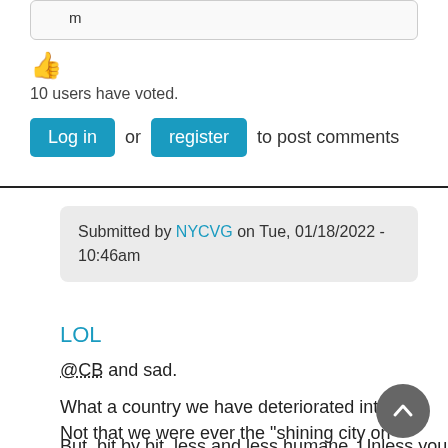m
[Figure (illustration): Thumbs up emoji icon in orange/yellow color]
10 users have voted.
Log in or register to post comments
Submitted by NYCVG on Tue, 01/18/2022 - 10:46am
LOL
@CB and sad.
What a country we have deteriorated into. Not that we were ever the "shining city on the hill" of delusions.
But, bit by bit, less and less humane. Unless you